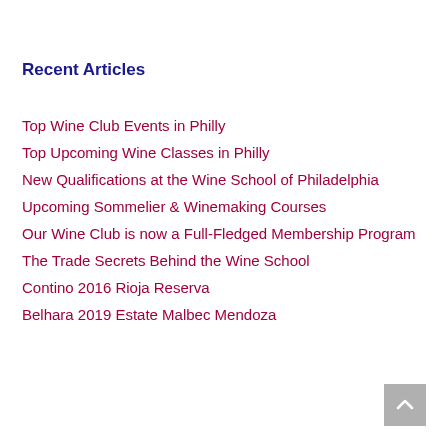Recent Articles
Top Wine Club Events in Philly
Top Upcoming Wine Classes in Philly
New Qualifications at the Wine School of Philadelphia
Upcoming Sommelier & Winemaking Courses
Our Wine Club is now a Full-Fledged Membership Program
The Trade Secrets Behind the Wine School
Contino 2016 Rioja Reserva
Belhara 2019 Estate Malbec Mendoza